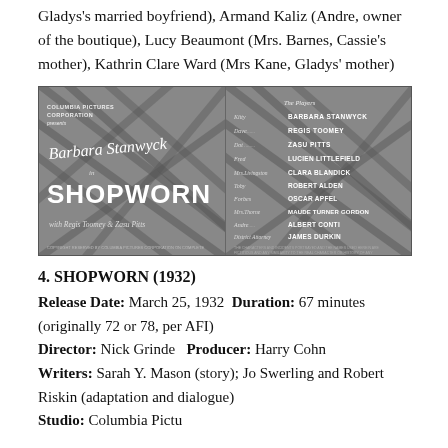Gladys's married boyfriend), Armand Kaliz (Andre, owner of the boutique), Lucy Beaumont (Mrs. Barnes, Cassie's mother), Kathrin Clare Ward (Mrs Kane, Gladys' mother)
[Figure (photo): Two-panel black and white film title card. Left panel: Columbia Pictures Corporation presents Barbara Stanwyck in SHOPWORN with Regis Toomey & Zasu Pitts. Right panel: Cast list with The Players - Kitty: Barbara Stanwyck, Dave: Regis Toomey, Dot: Zasu Pitts, Fred: Lucien Littlefield, Mrs. Livingston: Clara Blandick, Toby: Robert Alden, Forbes: Oscar Apfel, Mrs. Thorne: Maude Turner Gordon, Andre: Albert Conti, District Attorney: James Durkin.]
4. SHOPWORN (1932)
Release Date: March 25, 1932  Duration: 67 minutes (originally 72 or 78, per AFI)
Director: Nick Grinde   Producer: Harry Cohn
Writers: Sarah Y. Mason (story); Jo Swerling and Robert Riskin (adaptation and dialogue)
Studio: Columbia Pictures